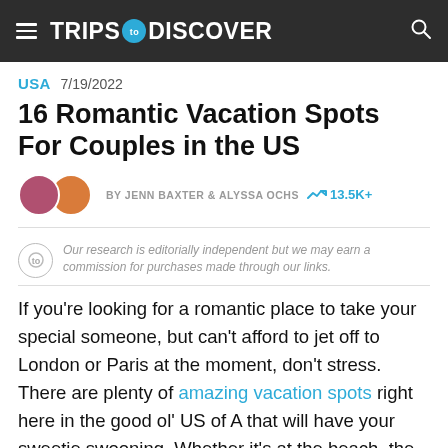TRIPS TO DISCOVER
USA  7/19/2022
16 Romantic Vacation Spots For Couples in the US
BY JENN BAXTER & ALYSSA OCHS  13.5K+
Our research is editorially independent but we may earn a commission for purchases made through our links.
If you're looking for a romantic place to take your special someone, but can't afford to jet off to London or Paris at the moment, don't stress. There are plenty of amazing vacation spots right here in the good ol' US of A that will have your sweetie swooning. Whether it's at the beach, the lake, or in the middle of rolling wine country, these destinations offer everything the two of